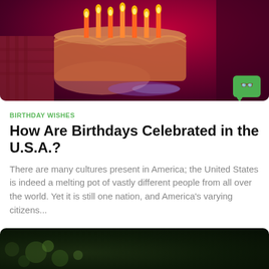[Figure (photo): A birthday cake with lit candles held by a person wearing a plaid shirt, dark reddish-purple background with a green chat bubble logo badge in the bottom right corner.]
BIRTHDAY WISHES
How Are Birthdays Celebrated in the U.S.A.?
There are many cultures present in America; the United States is indeed a melting pot of vastly different people from all over the world. Yet it is still one nation, and America's varying citizens...
[Figure (photo): Dark background with bokeh light effects, appears to be bottom of next article card.]